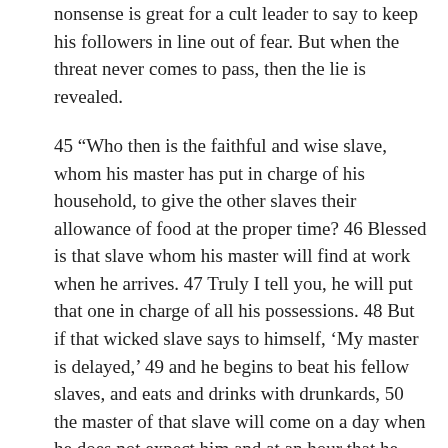nonsense is great for a cult leader to say to keep his followers in line out of fear. But when the threat never comes to pass, then the lie is revealed.
45 “Who then is the faithful and wise slave, whom his master has put in charge of his household, to give the other slaves their allowance of food at the proper time? 46 Blessed is that slave whom his master will find at work when he arrives. 47 Truly I tell you, he will put that one in charge of all his possessions. 48 But if that wicked slave says to himself, ‘My master is delayed,’ 49 and he begins to beat his fellow slaves, and eats and drinks with drunkards, 50 the master of that slave will come on a day when he does not expect him and at an hour that he does not know. 51 He will cut him in pieces and put him with the hypocrites, where there will be weeping and gnashing of teeth.”
I grew up in the 70s where we saw lots of Christians claiming the end times had come. They made the same claims as you